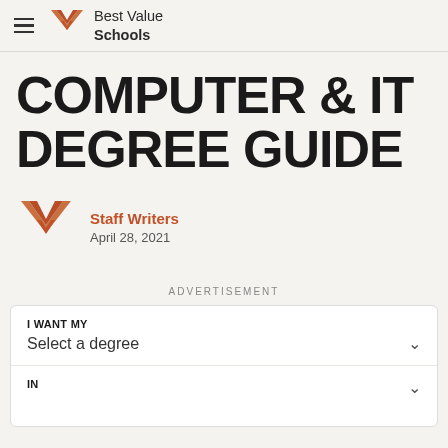Best Value Schools
COMPUTER & IT DEGREE GUIDE
Staff Writers
April 28, 2021
ADVERTISEMENT
I WANT MY
Select a degree
IN